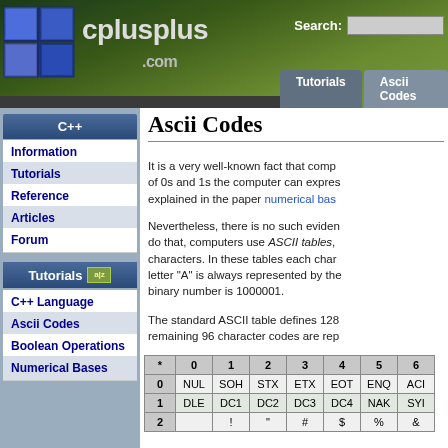cplusplus.com — Search: [search box] | Tutorials | Ascii Codes
C++
Information
Tutorials
Reference
Articles
Forum
Tutorials
C++ Language
Ascii Codes
Boolean Operations
Numerical Bases
Ascii Codes
It is a very well-known fact that computers use binary code (a sequence of 0s and 1s) to represent data. This is explained in the paper numerical bas...
Nevertheless, there is no such evidence that computers use ASCII tables, which are used to represent characters. In these tables each character, for example the letter "A" is always represented by the same number, whose binary number is 1000001.
The standard ASCII table defines 128 character codes (from 0 to 127), of which, the first 32 are control codes, and the remaining 96 character codes are rep...
| * | 0 | 1 | 2 | 3 | 4 | 5 | 6 |
| --- | --- | --- | --- | --- | --- | --- | --- |
| 0 | NUL | SOH | STX | ETX | EOT | ENQ | ACI |
| 1 | DLE | DC1 | DC2 | DC3 | DC4 | NAK | SYI |
| 2 |  | ! | " | # | $ | % | & |